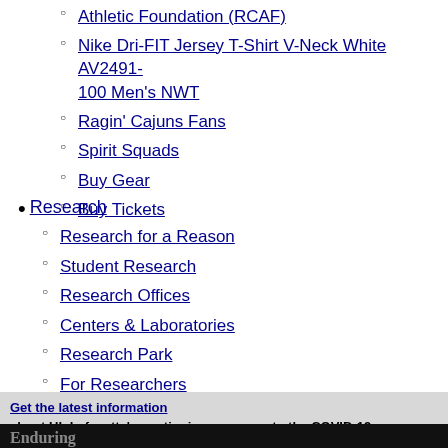Athletic Foundation (RCAF)
Nike Dri-FIT Jersey T-Shirt V-Neck White AV2491-100 Men's NWT
Ragin' Cajuns Fans
Spirit Squads
Buy Gear
Buy Tickets
Research
Research for a Reason
Student Research
Research Offices
Centers & Laboratories
Research Park
For Researchers
Get the latest information about UL Lafayette's continuing response to the COVID-19 pandemic.
[Figure (photo): Hero image with fireworks/colorful flowers on dark background with overlaid text: Enduring, Questions, Cajun...]